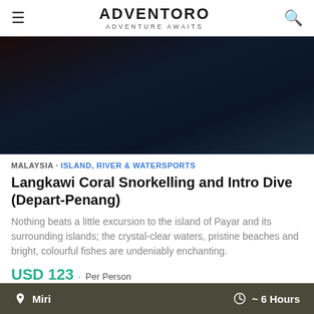ADVENTORO – ADVENTURE AWAITS
[Figure (photo): Dark hero image with deep blue-black underwater or night sky gradient background]
MALAYSIA · ISLAND, RIVER & WATERSPORTS
Langkawi Coral Snorkelling and Intro Dive (Depart-Penang)
Nothing beats a little excursion to the island of Payar and its surrounding islands; the crystal-clear waters, pristine beaches and bright, colourful fishes are undeniably enchanting.
USD 123 · Per Person
0 Reviews
Miri  ~ 6 Hours